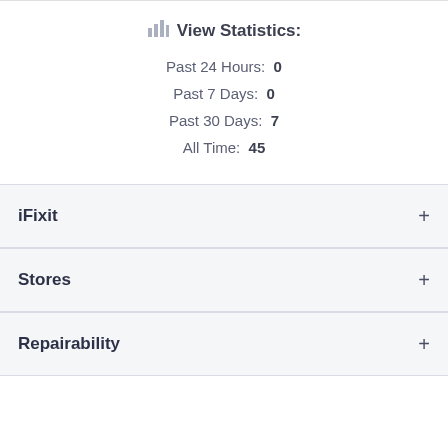View Statistics:
Past 24 Hours: 0
Past 7 Days: 0
Past 30 Days: 7
All Time: 45
iFixit
Stores
Repairability